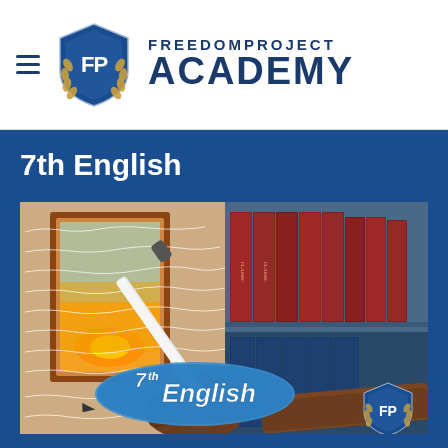[Figure (logo): FreedomProject Academy logo with shield containing FP initials and laurel wreath, beside text 'FreedomProject Academy']
7th English
[Figure (illustration): Course thumbnail image showing a hand holding a stylus pen over handwritten cursive text with a door opening to a sunset on the left, and a bookshelf with classic volumes on the right. Text overlay reads '7th English' with the FP Academy shield logo.]